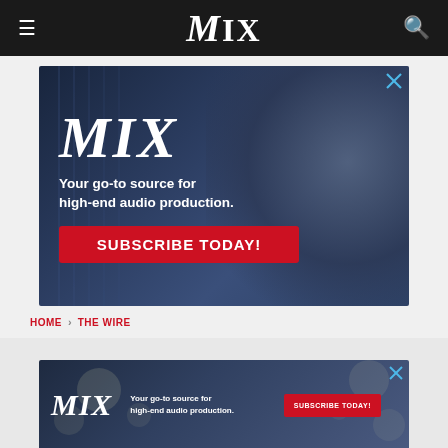MIX
[Figure (advertisement): MIX magazine large advertisement banner with microphone background. Text: MIX, Your go-to source for high-end audio production. SUBSCRIBE TODAY! button in red.]
HOME > THE WIRE
[Figure (advertisement): MIX magazine small horizontal advertisement banner. Text: MIX, Your go-to source for high-end audio production. SUBSCRIBE TODAY! button in red.]